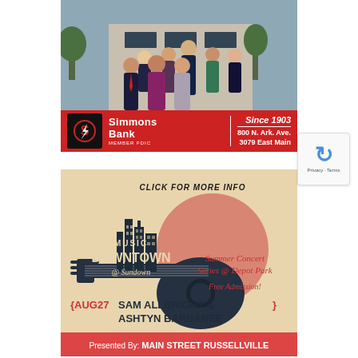[Figure (photo): Simmons Bank advertisement. Top portion shows a group photo of 8 bank employees/staff standing in front of a building. Bottom red banner shows Simmons Bank logo with 'Since 1903', '800 N. Ark. Ave.', '3079 East Main', and 'MEMBER FDIC'.]
[Figure (illustration): Music Downtown @ Sundown advertisement. Beige/tan background with dark blue guitar silhouette and city skyline. Text reads 'CLICK FOR MORE INFO', 'MUSIC DOWNTOWN @ Sundown', 'Summer Concert Series @ Depot Park', 'Free Admission!', '{AUG27 SAM ALLBRIGHT & ASHTYN BARBAREE }'. Red footer: 'Presented By: MAIN STREET RUSSELLVILLE'.]